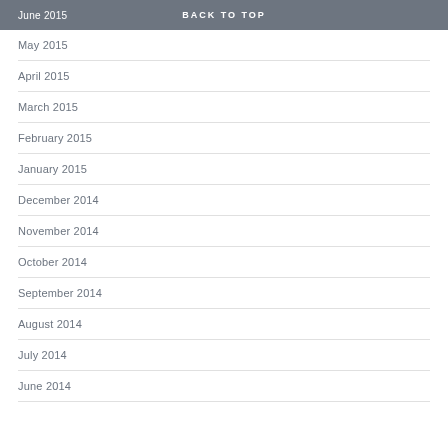June 2015  BACK TO TOP
May 2015
April 2015
March 2015
February 2015
January 2015
December 2014
November 2014
October 2014
September 2014
August 2014
July 2014
June 2014